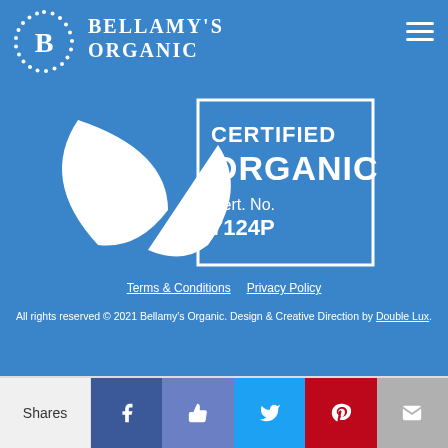[Figure (logo): Bellamy's Organic logo with circular dotted B emblem and brand name text on blue background]
[Figure (logo): Australian Certified Organic badge with white leaf design, text CERTIFIED ORGANIC Cert. No. 7124P, white border rectangle on blue background]
Terms & Conditions   Privacy Policy
All rights reserved © 2021 Bellamy's Organic. Design & Creative Direction by Double Lux.
Shares